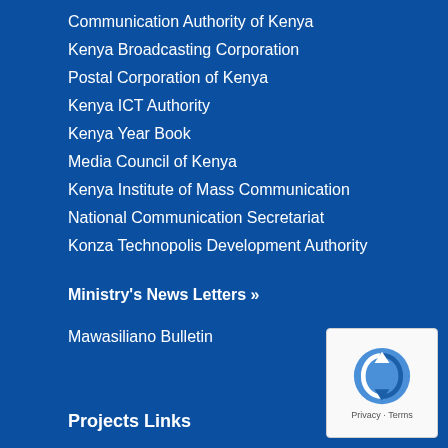Communication Authority of Kenya
Kenya Broadcasting Corporation
Postal Corporation of Kenya
Kenya ICT Authority
Kenya Year Book
Media Council of Kenya
Kenya Institute of Mass Communication
National Communication Secretariat
Konza Technopolis Development Authority
Ministry's News Letters »
Mawasiliano Bulletin
Projects Links
[Figure (logo): reCAPTCHA badge with Privacy and Terms text]